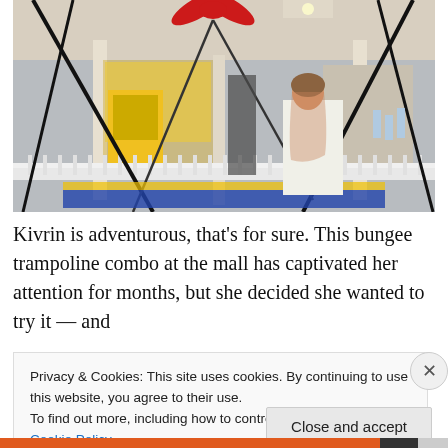[Figure (photo): A young woman in a white shirt looks upward at bungee trampoline equipment inside a shopping mall. Black bungee cords and a metal frame are visible in the foreground; shops and mall interior are visible in the background. A red bow decoration is at the top.]
Kivrin is adventurous, that's for sure. This bungee trampoline combo at the mall has captivated her attention for months, but she decided she wanted to try it — and
Privacy & Cookies: This site uses cookies. By continuing to use this website, you agree to their use.
To find out more, including how to control cookies, see here: Cookie Policy